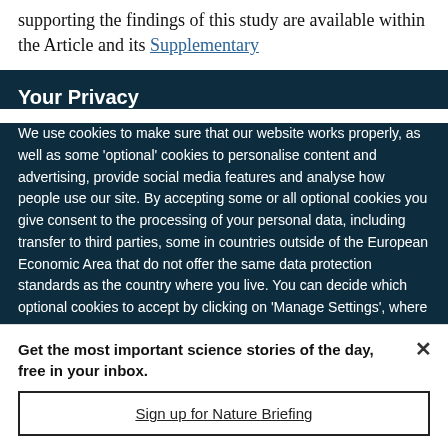supporting the findings of this study are available within the Article and its Supplementary
Your Privacy
We use cookies to make sure that our website works properly, as well as some 'optional' cookies to personalise content and advertising, provide social media features and analyse how people use our site. By accepting some or all optional cookies you give consent to the processing of your personal data, including transfer to third parties, some in countries outside of the European Economic Area that do not offer the same data protection standards as the country where you live. You can decide which optional cookies to accept by clicking on 'Manage Settings', where you can
Get the most important science stories of the day, free in your inbox.
Sign up for Nature Briefing